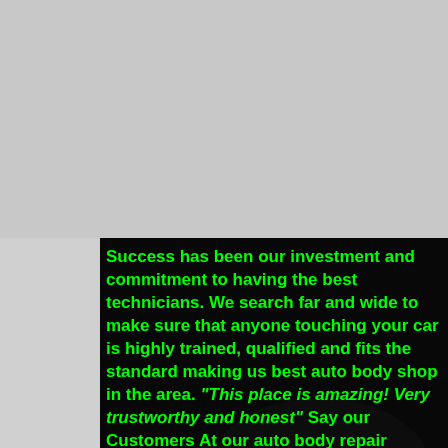[Figure (photo): Dark background photo of a car (rear view showing red tail light) with bright green bold text overlay describing the auto body shop's commitment to quality technicians and services.]
Success has been our investment and commitment to having the best technicians. We search far and wide to make sure that anyone touching your car is highly trained, qualified and fits the standard making us best auto body shop in the area. "This place is amazing! Very trustworthy and honest" Say our Customers At our auto body repair facility, we have the most up to date vehicle repair equipment to bring you the highest-quality workmanship that was can. We are able to meet and exceed the manufacturer factory specification for collision repair thanks to our advanced